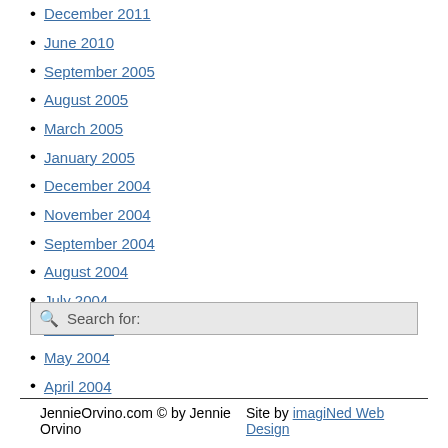December 2011
June 2010
September 2005
August 2005
March 2005
January 2005
December 2004
November 2004
September 2004
August 2004
July 2004
June 2004
May 2004
April 2004
JennieOrvino.com © by Jennie Orvino     Site by imagiNed Web Design